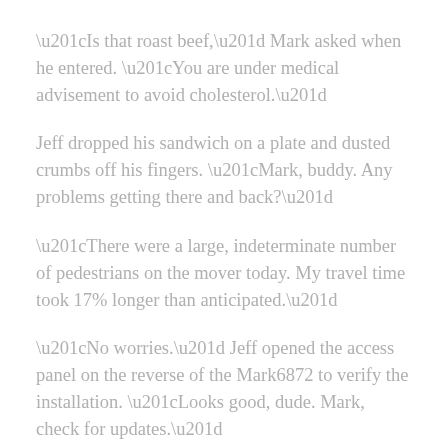“Is that roast beef,” Mark asked when he entered. “You are under medical advisement to avoid cholesterol.”
Jeff dropped his sandwich on a plate and dusted crumbs off his fingers. “Mark, buddy. Any problems getting there and back?”
“There were a large, indeterminate number of pedestrians on the mover today. My travel time took 17% longer than anticipated.”
“No worries.” Jeff opened the access panel on the reverse of the Mark6872 to verify the installation. “Looks good, dude. Mark, check for updates.”
“There are no current updates due for my system.”